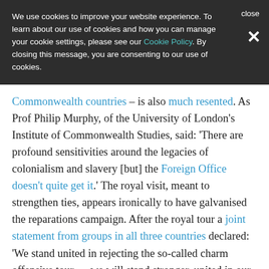We use cookies to improve your website experience. To learn about our use of cookies and how you can manage your cookie settings, please see our Cookie Policy. By closing this message, you are consenting to our use of cookies.
Commonwealth countries – is also much resented. As Prof Philip Murphy, of the University of London's Institute of Commonwealth Studies, said: ‘There are profound sensitivities around the legacies of colonialism and slavery [but] the Foreign Office doesn’t quite get it.’ The royal visit, meant to strengthen ties, appears ironically to have galvanised the reparations campaign. After the royal tour a joint statement from groups in all three countries declared: ‘We stand united in rejecting the so-called charm offensive tour … we will stand stronger, united in our call for reparatory justice and in supporting the roadmap for redress laid out by the Caricom Reparations Commission.’
William, who reportedly expressed doubts privately about